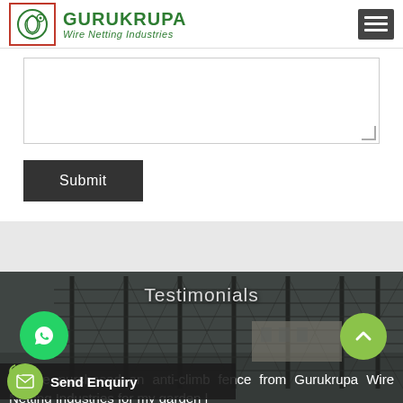GURUKRUPA Wire Netting Industries
[Figure (screenshot): Textarea input field with resize handle, followed by a Submit button]
[Figure (photo): Background photo of wire security fencing/anti-climb fence panels along a road]
Testimonials
[Figure (illustration): WhatsApp floating button (green circle with WhatsApp icon)]
[Figure (illustration): Send Enquiry floating bar with mail icon]
I have purchased an anti-climb fence from Gurukrupa Wire Netting Industries for my garden |